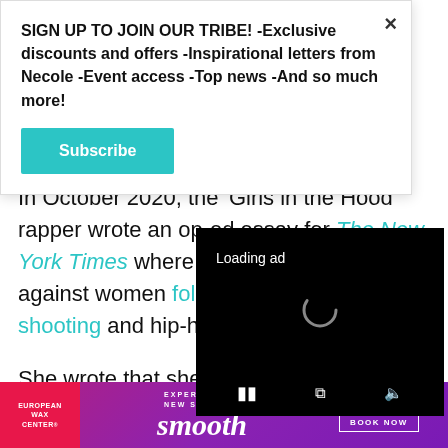SIGN UP TO JOIN OUR TRIBE! -Exclusive discounts and offers -Inspirational letters from Necole -Event access -Top news -And so much more!
Subscribe
In October 2020, the 'Girls in the Hood' rapper wrote an op-ed essay for The New York Times where she addressed violence against women following the alleged shooting and hip-hop being pitted against each other.
She wrote that she believes the violence against women "happens because..."
[Figure (screenshot): Video player overlay with black background showing 'Loading ad' text, a loading spinner, and video controls (pause, fullscreen, mute)]
[Figure (infographic): European Wax Center advertisement banner with purple/magenta gradient background, 'smooth' branding, and 'First Wax Free / Book Now' call to action]